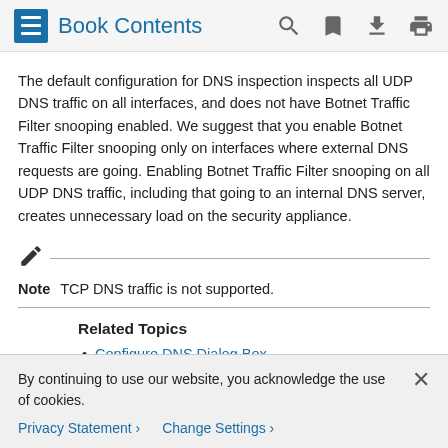Book Contents
The default configuration for DNS inspection inspects all UDP DNS traffic on all interfaces, and does not have Botnet Traffic Filter snooping enabled. We suggest that you enable Botnet Traffic Filter snooping only on interfaces where external DNS requests are going. Enabling Botnet Traffic Filter snooping on all UDP DNS traffic, including that going to an internal DNS server, creates unnecessary load on the security appliance.
Note  TCP DNS traffic is not supported.
Related Topics
Configure DNS Dialog Box
By continuing to use our website, you acknowledge the use of cookies.
Privacy Statement  Change Settings